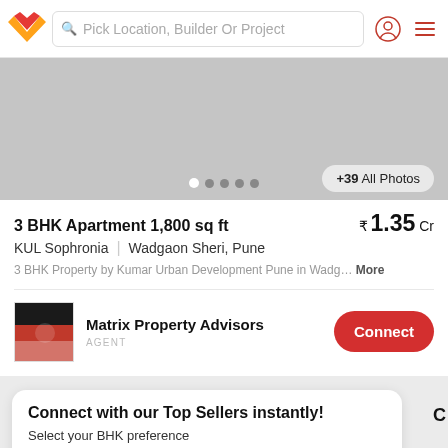Pick Location, Builder Or Project
[Figure (photo): Property photo gallery area with navigation dots and All Photos button]
+39 All Photos
3 BHK Apartment 1,800 sq ft
₹1.35 Cr
KUL Sophronia | Wadgaon Sheri, Pune
3 BHK Property by Kumar Urban Development Pune in Wadg… More
Matrix Property Advisors
AGENT
Connect
Connect with our Top Sellers instantly!
Select your BHK preference
Sort by
Filter